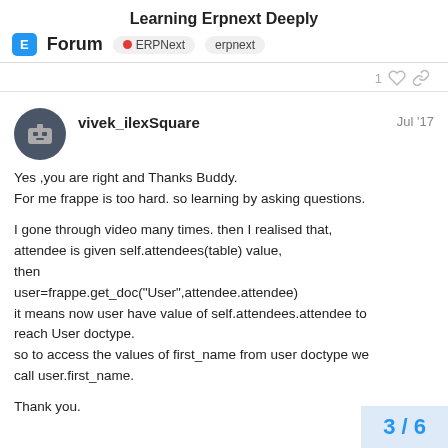Learning Erpnext Deeply
Forum | ERPNext | erpnext
1
vivek_ilexSquare  Jul '17
Yes ,you are right and Thanks Buddy.
For me frappe is too hard. so learning by asking questions.

I gone through video many times. then I realised that, attendee is given self.attendees(table) value, then
user=frappe.get_doc(“User”,attendee.attendee)
it means now user have value of self.attendees.attendee to reach User doctype.
so to access the values of first_name from user doctype we call user.first_name.

Thank you.
3 / 6